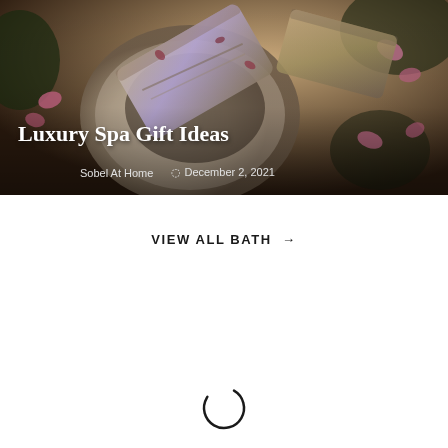[Figure (photo): Hero image of luxury spa bath products — decorative soap bars with floral petals in a bowl, dark moody background with pink flowers, overlaid with article title and metadata]
Luxury Spa Gift Ideas
Sobel At Home   🕐 December 2, 2021
VIEW ALL BATH →
[Figure (other): Loading spinner circle (partial arc) at the bottom of the page]